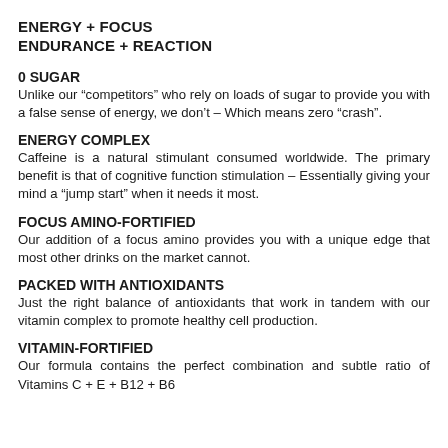ENERGY + FOCUS
ENDURANCE + REACTION
0 SUGAR
Unlike our “competitors” who rely on loads of sugar to provide you with a false sense of energy, we don’t – Which means zero “crash”.
ENERGY COMPLEX
Caffeine is a natural stimulant consumed worldwide. The primary benefit is that of cognitive function stimulation – Essentially giving your mind a “jump start” when it needs it most.
FOCUS AMINO-FORTIFIED
Our addition of a focus amino provides you with a unique edge that most other drinks on the market cannot.
PACKED WITH ANTIOXIDANTS
Just the right balance of antioxidants that work in tandem with our vitamin complex to promote healthy cell production.
VITAMIN-FORTIFIED
Our formula contains the perfect combination and subtle ratio of Vitamins C + E + B12 + B6